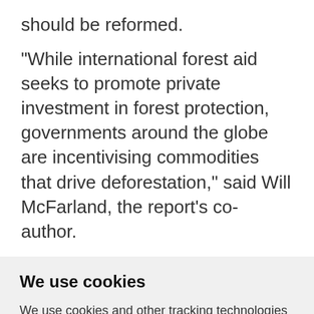should be reformed.
"While international forest aid seeks to promote private investment in forest protection, governments around the globe are incentivising commodities that drive deforestation," said Will McFarland, the report's co-author.
We use cookies
We use cookies and other tracking technologies to improve your browsing experience on our website, to show you personalized content and targeted ads, to analyze our website traffic, and to understand where our visitors are coming from.